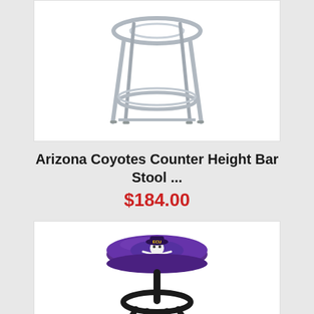[Figure (photo): Chrome bar stool without seat cushion, showing metal frame with circular footrest, viewed from slight angle against white background]
Arizona Coyotes Counter Height Bar Stool ...
$184.00
[Figure (photo): ECU Pirates bar stool with purple cushioned seat featuring pirate skull and crossbones logo, black metal frame with circular footrest]